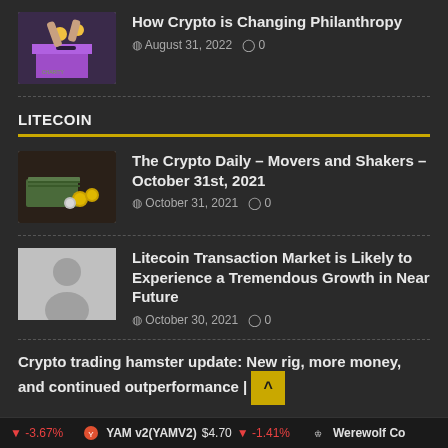[Figure (photo): Crypto charity donation box illustration with coins]
How Crypto is Changing Philanthropy
August 31, 2022  0
LITECOIN
[Figure (photo): Crypto coins and cash money on dark table]
The Crypto Daily – Movers and Shakers – October 31st, 2021
October 31, 2021  0
[Figure (photo): Gray placeholder avatar silhouette]
Litecoin Transaction Market is Likely to Experience a Tremendous Growth in Near Future
October 30, 2021  0
Crypto trading hamster update: New rig, more money, and continued outperformance |
-3.67%   YAM v2(YAMV2)  $4.70  -1.41%   Werewolf Co